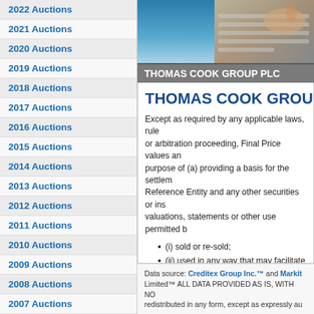2022 Auctions
2021 Auctions
2020 Auctions
2019 Auctions
2018 Auctions
2017 Auctions
2016 Auctions
2015 Auctions
2014 Auctions
2013 Auctions
2012 Auctions
2011 Auctions
2010 Auctions
2009 Auctions
2008 Auctions
2007 Auctions
2006 Auctions
2005 Auctions
[Figure (photo): Photo of keyboard/hands, blue and gray tones]
THOMAS COOK GROUP PLC
THOMAS COOK GROUP PLC
Except as required by any applicable laws, rule or arbitration proceeding, Final Price values an purpose of (a) providing a basis for the settlem Reference Entity and any other securities or ins valuations, statements or other use permitted b
(i) sold or re-sold;
(ii) used in any way that may facilitate m Credit Derivatives Determinations Com any such auction; or
(iii) disclosed to, provided to, used or pe
Please note you must have cookies enabled to administrator if you cannot view the page.
I Disagree    I Agree
Data source: Creditex Group Inc.™ and Markit Limited™ ALL DATA PROVIDED AS IS, WITH NO redistributed in any form, except as expressly au